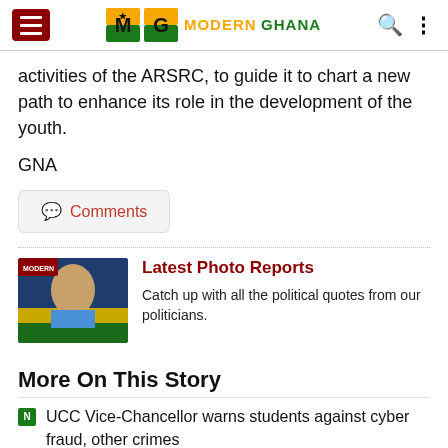Modern Ghana
activities of the ARSRC, to guide it to chart a new path to enhance its role in the development of the youth.
GNA
💬 Comments
[Figure (photo): Thumbnail photo for Latest Photo Reports section showing a man in a blue jacket]
Latest Photo Reports
Catch up with all the political quotes from our politicians.
More On This Story
UCC Vice-Chancellor warns students against cyber fraud, other crimes